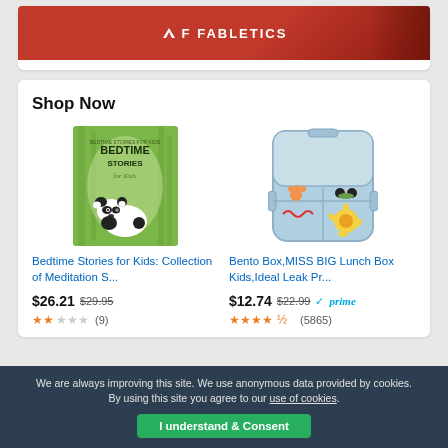[Figure (logo): Fabletics advertisement banner with red background and Fabletics logo in white]
Shop Now
[Figure (illustration): Book cover: Bedtime Stories for Kids with panda illustration and green bamboo background]
Bedtime Stories for Kids: Collection of Meditation S...
$26.21 $29.95
★★☆☆☆ (9)
[Figure (photo): Bento lunch box with blue color, open lid showing compartments with food shaped like animals]
Bento Box,MISS BIG Lunch Box Kids,Ideal Leak Pr...
$12.74 $22.99 ✓prime
★★★★½ (5865)
We are always improving this site. We use anonymous data provided by cookies. By using this site you agree to our use of cookies.
I understand & Consent